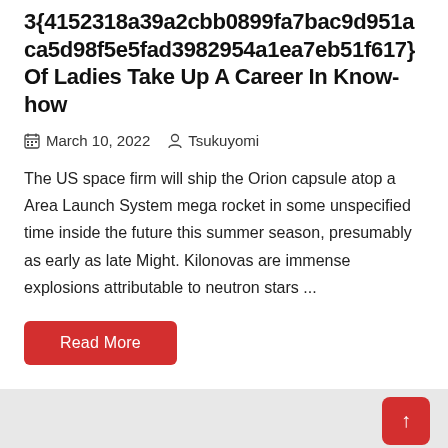3{4152318a39a2cbb0899fa7bac9d951aca5d98f5e5fad3982954a1ea7eb51f617} Of Ladies Take Up A Career In Know-how
March 10, 2022   Tsukuyomi
The US space firm will ship the Orion capsule atop a Area Launch System mega rocket in some unspecified time inside the future this summer season, presumably as early as late Might. Kilonovas are immense explosions attributable to neutron stars ...
Read More
Education Kindergarten